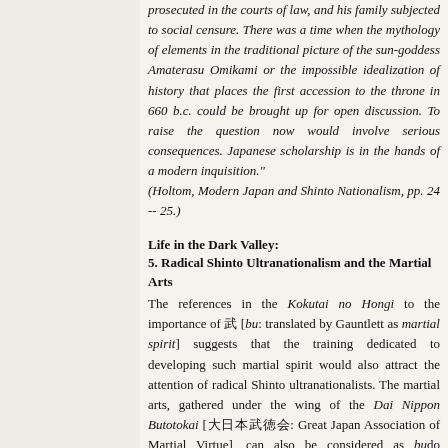prosecuted in the courts of law, and his family subjected to social censure. There was a time when the mythology of elements in the traditional picture of the sun-goddess Amaterasu Omikami or the impossible idealization of history that places the first accession to the throne in 660 b.c. could be brought up for open discussion. To raise the question now would involve serious consequences. Japanese scholarship is in the hands of a modern inquisition." (Holtom, Modern Japan and Shinto Nationalism, pp. 24 -- 25.)
Life in the Dark Valley:
5. Radical Shinto Ultranationalism and the Martial Arts
The references in the Kokutai no Hongi to the importance of 武 [bu: translated by Gauntlett as martial spirit] suggests that the training dedicated to developing such martial spirit would also attract the attention of radical Shinto ultranationalists. The martial arts, gathered under the wing of the Dai Nippon Butotokai [大日本武徳会: Great Japan Association of Martial Virtue], can also be considered as budo variations on the fascist theme. This organization had been created in 1895 and controlled martial arts instruction in Japan. A jujutsu division was eventually created and Kano Jigoro chaired a committee